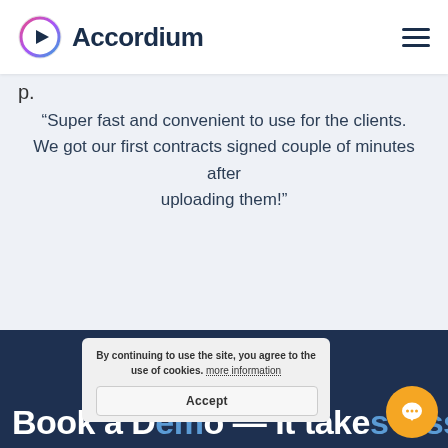Accordium
“Super fast and convenient to use for the clients. We got our first contracts signed couple of minutes after uploading them!”
By continuing to use the site, you agree to the use of cookies. more information
Book a Demo — It takes less